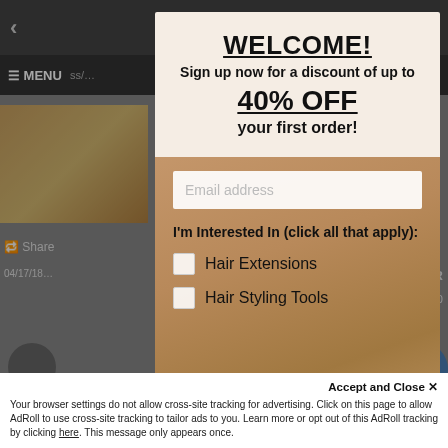[Figure (screenshot): Website background showing navigation bar with menu, URL bar, cart icon, and page content including a hair product thumbnail image and social sharing elements]
WELCOME!
Sign up now for a discount of up to
40% OFF
your first order!
Email address
I'm Interested In (click all that apply):
Hair Extensions
Hair Styling Tools
Sign Up Now!
Accept and Close ✕
Your browser settings do not allow cross-site tracking for advertising. Click on this page to allow AdRoll to use cross-site tracking to tailor ads to you. Learn more or opt out of this AdRoll tracking by clicking here. This message only appears once.